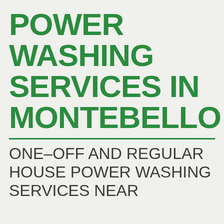POWER WASHING SERVICES IN MONTEBELLO
ONE-OFF AND REGULAR HOUSE POWER WASHING SERVICES NEAR